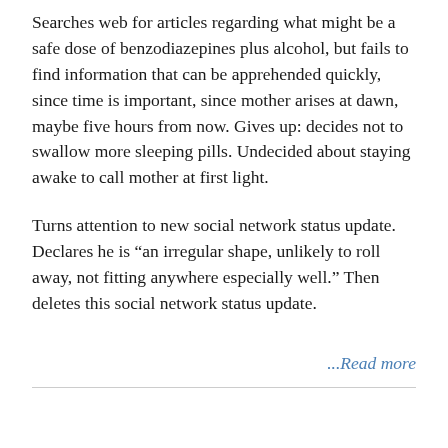Searches web for articles regarding what might be a safe dose of benzodiazepines plus alcohol, but fails to find information that can be apprehended quickly, since time is important, since mother arises at dawn, maybe five hours from now. Gives up: decides not to swallow more sleeping pills. Undecided about staying awake to call mother at first light.
Turns attention to new social network status update. Declares he is “an irregular shape, unlikely to roll away, not fitting anywhere especially well.” Then deletes this social network status update.
...Read more